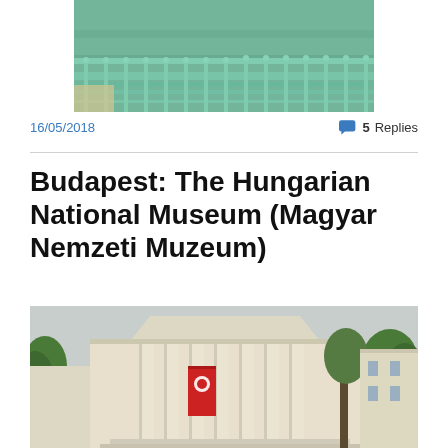[Figure (photo): Aerial view of a bridge railing over green water, seen from above]
16/05/2018
💬 5 Replies
Budapest: The Hungarian National Museum (Magyar Nemzeti Muzeum)
[Figure (photo): Exterior of the Hungarian National Museum (Magyar Nemzeti Muzeum), a classical neoclassical building with columns, green trees, and a banner on the facade]